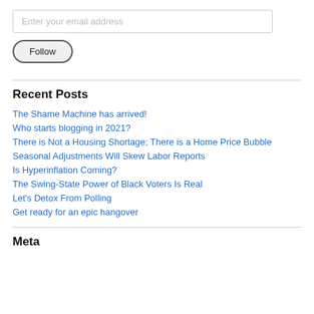Enter your email address
Follow
Recent Posts
The Shame Machine has arrived!
Who starts blogging in 2021?
There is Not a Housing Shortage; There is a Home Price Bubble
Seasonal Adjustments Will Skew Labor Reports
Is Hyperinflation Coming?
The Swing-State Power of Black Voters Is Real
Let's Detox From Polling
Get ready for an epic hangover
Meta